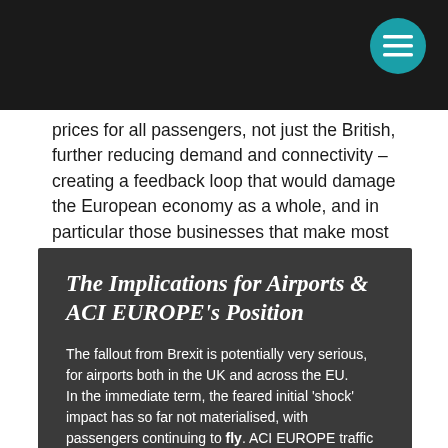prices for all passengers, not just the British, further reducing demand and connectivity – creating a feedback loop that would damage the European economy as a whole, and in particular those businesses that make most use of aviation.
The Implications for Airports & ACI EUROPE's Position
The fallout from Brexit is potentially very serious, for airports both in the UK and across the EU.
In the immediate term, the feared initial 'shock' impact has so far not materialised, with passengers continuing to fly. ACI EUROPE traffic figures for July 2016 show healthy growth of +6.8% for the EU overall and +5.6% for the UK. Traffic data for August released by individual UK airports has also largely been quite positive, with several airports big and small reporting double-digit growth in passenger numbers.